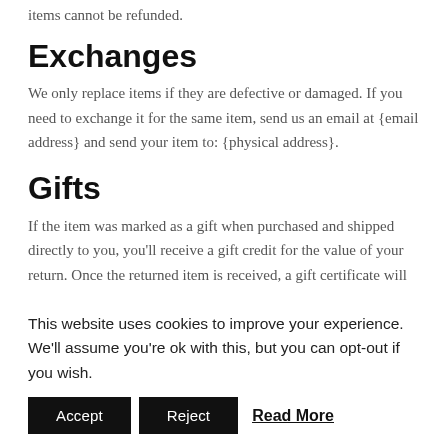items cannot be refunded.
Exchanges
We only replace items if they are defective or damaged. If you need to exchange it for the same item, send us an email at {email address} and send your item to: {physical address}.
Gifts
If the item was marked as a gift when purchased and shipped directly to you, you'll receive a gift credit for the value of your return. Once the returned item is received, a gift certificate will be mailed to you.
If the item wasn't marked as a gift when purchased,
This website uses cookies to improve your experience. We'll assume you're ok with this, but you can opt-out if you wish.